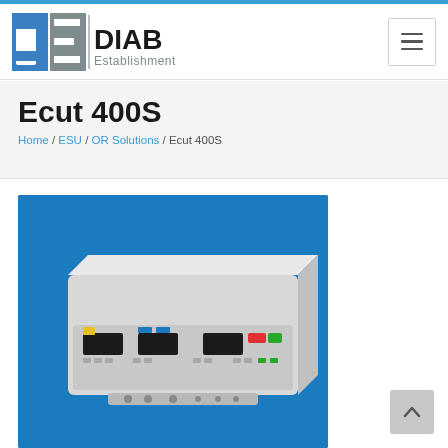[Figure (logo): DE|DIAB Establishment logo with blue and grey block letters on left and DIAB Establishment text on right]
Ecut 400S
Home / ESU / OR Solutions / Ecut 400S
[Figure (photo): Photo of Ecut 400S electrosurgical unit, a white/grey console device with control panel, on blue background]